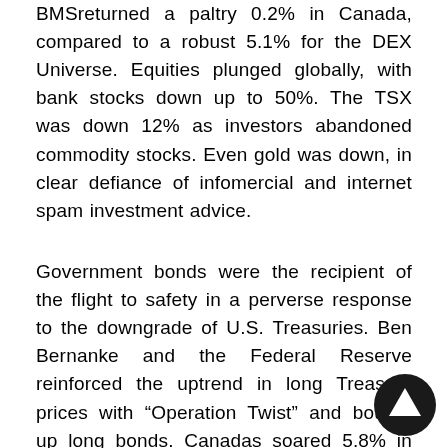BMSreturned a paltry 0.2% in Canada, compared to a robust 5.1% for the DEX Universe. Equities plunged globally, with bank stocks down up to 50%. The TSX was down 12% as investors abandoned commodity stocks. Even gold was down, in clear defiance of infomercial and internet spam investment advice.
Government bonds were the recipient of the flight to safety in a perverse response to the downgrade of U.S. Treasuries. Ben Bernanke and the Federal Reserve reinforced the uptrend in long Treasury prices with “Operation Twist” and bought up long bonds. Canadas soared 5.8% in the quarter while corporate bonds lagged at 3.7% as credit spreads widened. Financial and communication bonds struggled